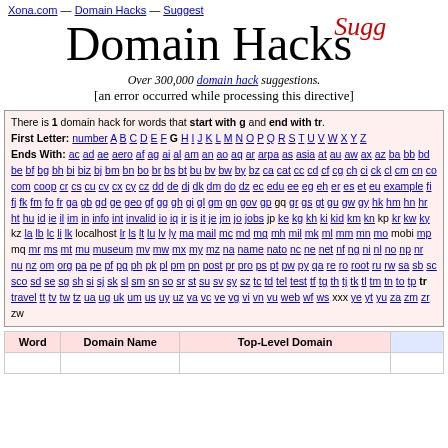Xona.com — Domain Hacks — Suggest
Domain Hacks
Over 300,000 domain hack suggestions.
[an error occurred while processing this directive]
There is 1 domain hack for words that start with g and end with tr.
First Letter: number A B C D E F G H I J K L M N O P Q R S T U V W X Y Z
Ends With: ac ad ae aero af ag ai al am an ao aq ar arpa as asia at au aw ax az ba bb bd be bf bg bh bi biz bj bm bn bo br bs bt bu bv bw by bz ca cat cc cd cf cg ch ci ck cl cm cn co com coop cr cs cu cv cx cy cz dd de dj dk dm do dz ec edu ee eg eh er es et eu example fi fj fk fm fo fr ga gb gd ge geo gf gg gh gi gl gm gn gov gp gq gr gs gt gu gw gy hk hm hn hr ht hu id ie il im in info int invalid io iq ir is it je jm jo jobs jp ke kg kh ki kid km kn kp kr kw ky kz la lb lc li lk localhost lr ls lt lu lv ly ma mail mc md mg mh mil mk ml mm mn mo mobi mp mq mr ms mt mu museum mv mw mx my mz na name nato nc ne net nf ng ni nl no np nr nu nz om org pa pe pf pg ph pk pl pm pn post pr pro ps pt pw py qa re ro root ru rw sa sb sc sco sd se sg sh si sj sk sl sm sn so sr st su sv sy sz tc td tel test tf tg th tj tk tl tm tn to tp tr travel tt tv tw tz ua ug uk um us uy uz va vc ve vg vi vn vu web wf ws xxx ye yt yu za zm zr zw
| Word | Domain Name | Top-Level Domain |  |
| --- | --- | --- | --- |